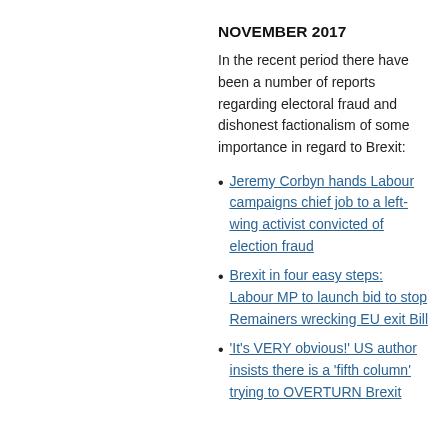NOVEMBER 2017
In the recent period there have been a number of reports regarding electoral fraud and dishonest factionalism of some importance in regard to Brexit:
Jeremy Corbyn hands Labour campaigns chief job to a left-wing activist convicted of election fraud
Brexit in four easy steps: Labour MP to launch bid to stop Remainers wrecking EU exit Bill
'It's VERY obvious!' US author insists there is a 'fifth column' trying to OVERTURN Brexit